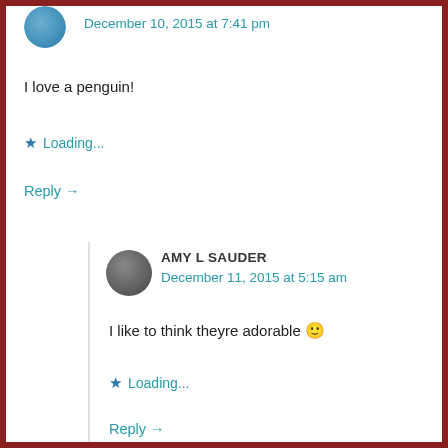[Figure (photo): Circular avatar image at top left, partially cut off]
December 10, 2015 at 7:41 pm
I love a penguin!
★ Loading...
Reply →
[Figure (photo): Circular avatar image, dark gray tones]
AMY L SAUDER
December 11, 2015 at 5:15 am
I like to think theyre adorable 🙂
★ Loading...
Reply →